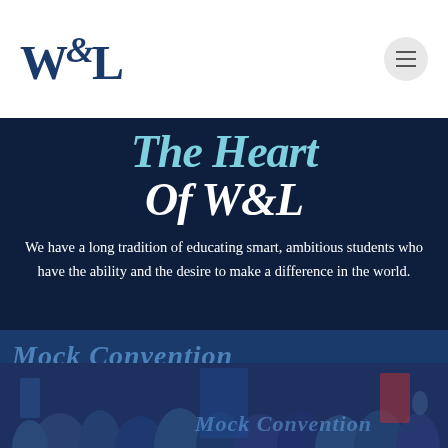W&L
The Heart Of W&L
We have a long tradition of educating smart, ambitious students who have the ability and the desire to make a difference in the world.
[Figure (photo): Crowd of students at Mock Convention event with banners and raised hands]